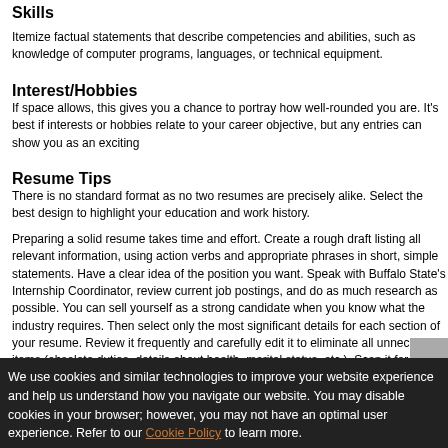Skills
Itemize factual statements that describe competencies and abilities, such as knowledge of computer programs, languages, or technical equipment.
Interest/Hobbies
If space allows, this gives you a chance to portray how well-rounded you are. It's best if interests or hobbies relate to your career objective, but any entries can show you as an exciting candidate.
Resume Tips
There is no standard format as no two resumes are precisely alike. Select the best design to highlight your education and work history.
Preparing a solid resume takes time and effort. Create a rough draft listing all relevant information, using action verbs and appropriate phrases in short, simple statements. Have a clear idea of the position you want. Speak with Buffalo State's Internship Coordinator, review current job postings, and do as much research as possible. You can sell yourself as a strong candidate when you know what the industry requires. Then select only the most significant details for each section of your resume. Review it frequently and carefully edit it to eliminate all unnecessary items (obsolete duties, details about health, marital status, etc.). Scan it for relevant content and catch spelling, grammatical, and typing errors.
Have someone else proofread it to find errors you may have missed and streamline it further. Career counselors can assist you with this as part of the Career Services Department's Drop-In Service. Resume workshops are also offered during the academic year.
We use cookies and similar technologies to improve your website experience and help us understand how you navigate our website. You may disable cookies in your browser; however, you may not have an optimal user experience. Refer to our Cookie Policy to learn more.